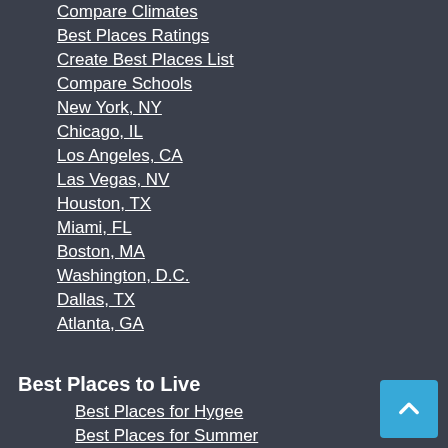Compare Climates
Best Places Ratings
Create Best Places List
Compare Schools
New York, NY
Chicago, IL
Los Angeles, CA
Las Vegas, NV
Houston, TX
Miami, FL
Boston, MA
Washington, D.C.
Dallas, TX
Atlanta, GA
Best Places to Live
Best Places for Hygee
Best Places for Summer